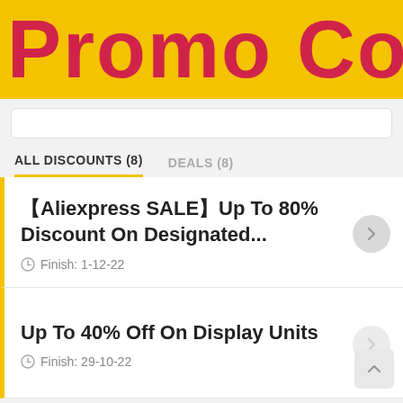Promo Codes
ALL DISCOUNTS (8)   DEALS (8)
【Aliexpress SALE】Up To 80% Discount On Designated...  Finish: 1-12-22
Up To 40% Off On Display Units  Finish: 29-10-22